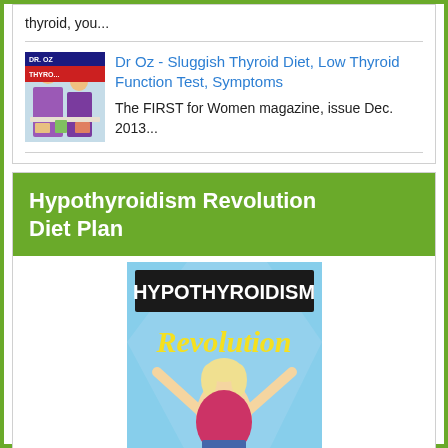thyroid, you...
Dr Oz - Sluggish Thyroid Diet, Low Thyroid Function Test, Symptoms
The FIRST for Women magazine, issue Dec. 2013...
Hypothyroidism Revolution Diet Plan
[Figure (photo): Book cover for Hypothyroidism Revolution showing the title in bold black and yellow script lettering on a light blue background with a woman with blonde hair raising her arms]